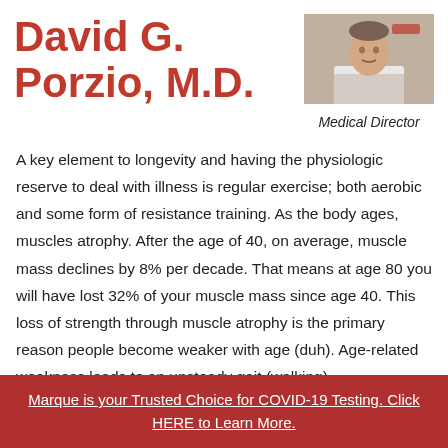David G. Porzio, M.D.
[Figure (photo): Headshot of Dr. David G. Porzio in a white coat]
Medical Director
A key element to longevity and having the physiologic reserve to deal with illness is regular exercise; both aerobic and some form of resistance training. As the body ages, muscles atrophy. After the age of 40, on average, muscle mass declines by 8% per decade. That means at age 80 you will have lost 32% of your muscle mass since age 40. This loss of strength through muscle atrophy is the primary reason people become weaker with age (duh). Age-related weakness leads to an unsteady gait (walking)
Marque is your Trusted Choice for COVID-19 Testing. Click HERE to Learn More.